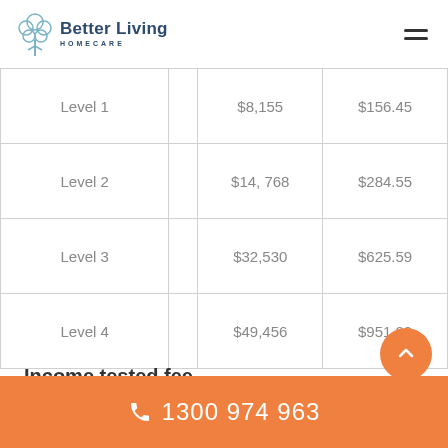Better Living Homecare
|  |  |  |  |
| --- | --- | --- | --- |
| Level 1 |  | $8,155 | $156.45 |
| Level 2 |  | $14,768 | $284.55 |
| Level 3 |  | $32,530 | $625.59 |
| Level 4 |  | $49,456 | $951.09 |
Income tested fee
1300 974 963